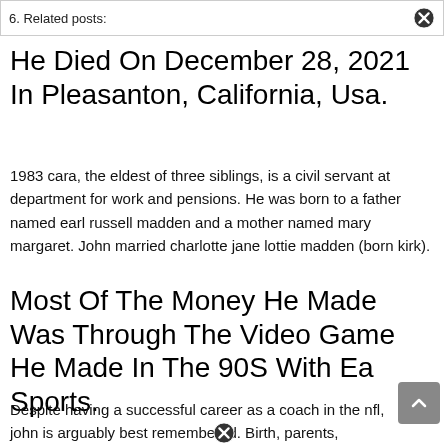6. Related posts:
He Died On December 28, 2021 In Pleasanton, California, Usa.
1983 cara, the eldest of three siblings, is a civil servant at department for work and pensions. He was born to a father named earl russell madden and a mother named mary margaret. John married charlotte jane lottie madden (born kirk).
Most Of The Money He Made Was Through The Video Game He Made In The 90S With Ea Sports.
Despite having a successful career as a coach in the nfl, john is arguably best remembered. Birth, parents, siblings